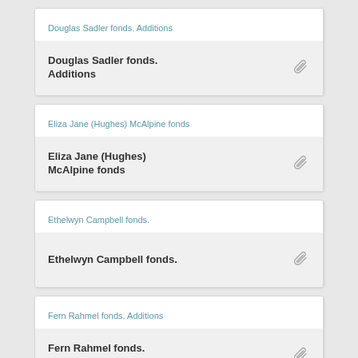Douglas Sadler fonds. Additions — Douglas Sadler fonds. Additions
Eliza Jane (Hughes) McAlpine fonds — Eliza Jane (Hughes) McAlpine fonds
Ethelwyn Campbell fonds. — Ethelwyn Campbell fonds.
Fern Rahmel fonds. Additions — Fern Rahmel fonds. Additions